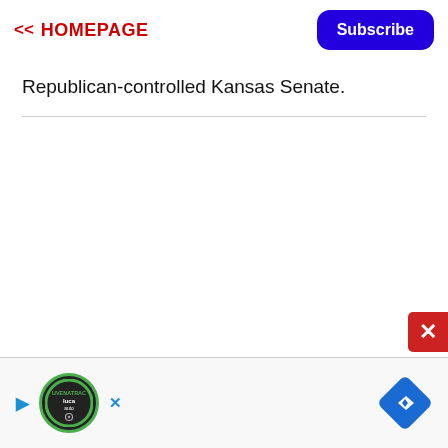<< HOMEPAGE  Subscribe
Republican-controlled Kansas Senate.
[Figure (other): Advertisement banner with auto dealership logo (circular green-bordered badge with 'Uvenatrac auto' text), play button icon, X/close icon, and blue navigation diamond/arrow icon.]